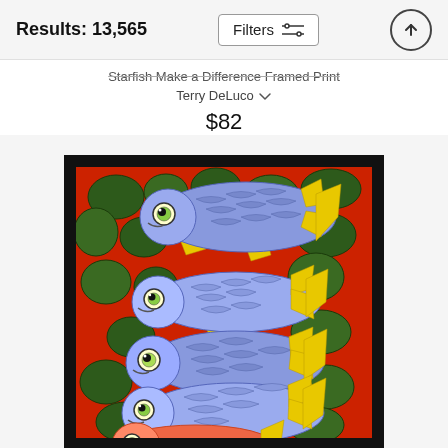Results: 13,565
Starfish Make a Difference Framed Print
Terry DeLuco
$82
[Figure (illustration): A framed print showing a school of blue fish with yellow fins swimming against a red net/coral background with green and dark accents. Multiple blue fish with large round eyes are depicted in a folk-art style, displayed in a thick black frame with white mat.]